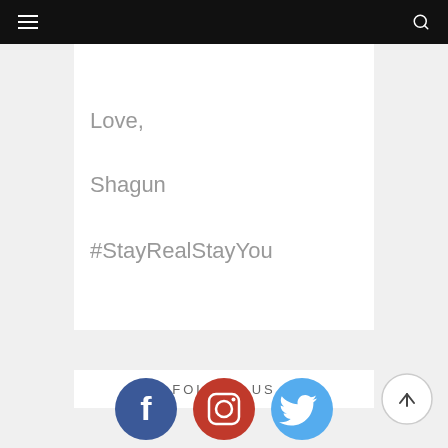≡  🔍
Love,
Shagun
#StayRealStayYou
FOLLOW US
[Figure (infographic): Three social media icons: Facebook (dark blue circle with 'f'), Instagram (red circle with camera icon), Twitter (light blue circle with bird icon). Also a back-to-top arrow button (circle with upward arrow).]